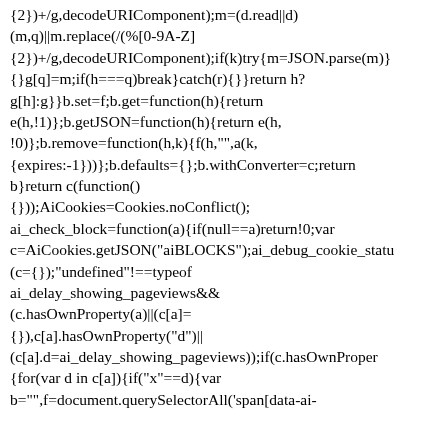{2})+/g,decodeURIComponent);m=(d.read||d)(m,q)||m.replace((/(%[0-9A-Z]{2})+/g,decodeURIComponent);if(k)try{m=JSON.parse(m)}g[q]=m;if(h===q)break}catch(r){}}return h?g[h]:g}}b.set=f;b.get=function(h){return e(h,!1)};b.getJSON=function(h){return e(h,!o)};b.remove=function(h,k){f(h,"",a(k,{expires:-1}))};b.defaults={};b.withConverter=c;return b}return c(function(){}));AiCookies=Cookies.noConflict();ai_check_block=function(a){if(null==a)return!0;var c=AiCookies.getJSON("aiBLOCKS");ai_debug_cookie_statu(c={});"undefined"!==typeof ai_delay_showing_pageviews&&(c.hasOwnProperty(a)||(c[a]={}),c[a].hasOwnProperty("d")||(c[a].d=ai_delay_showing_pageviews));if(c.hasOwnProper{for(var d in c[a]){if("x"==d){var b="",f=document.querySelectorAll('span[data-ai-